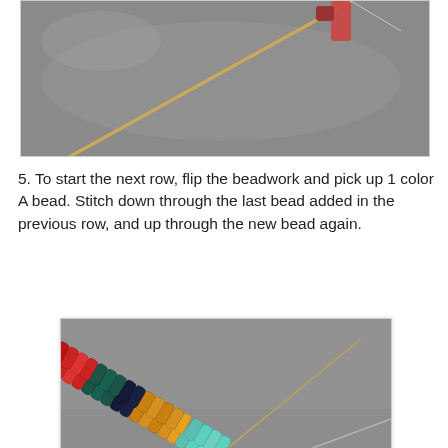[Figure (photo): Close-up photo of a beading needle with thread on a grey fabric background, showing the beginning of a beadwork stitch. The top portion of a beaded piece is visible at the top.]
5. To start the next row, flip the beadwork and pick up 1 color A bead. Stitch down through the last bead added in the previous row, and up through the new bead again.
[Figure (photo): Photo of a completed section of brick stitch beadwork on a grey background. The beaded strip shows multiple colors including teal/aqua at the bottom, gold/amber in the middle, dark navy and dark teal, and red at the top. A beading needle with thread is visible extending from the bottom of the work.]